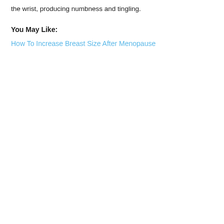the wrist, producing numbness and tingling.
You May Like:
How To Increase Breast Size After Menopause